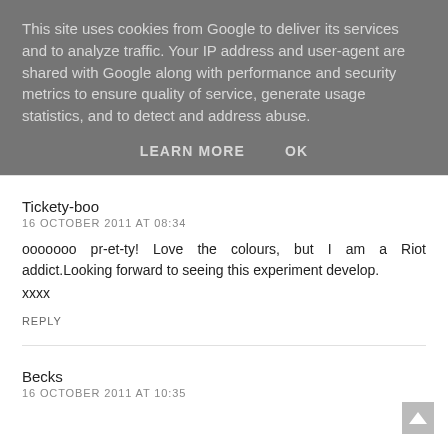This site uses cookies from Google to deliver its services and to analyze traffic. Your IP address and user-agent are shared with Google along with performance and security metrics to ensure quality of service, generate usage statistics, and to detect and address abuse.
LEARN MORE   OK
Tickety-boo
16 OCTOBER 2011 AT 08:34
ooooooo pr-et-ty! Love the colours, but I am a Riot addict.Looking forward to seeing this experiment develop.
xxxx
REPLY
Becks
16 OCTOBER 2011 AT 10:35